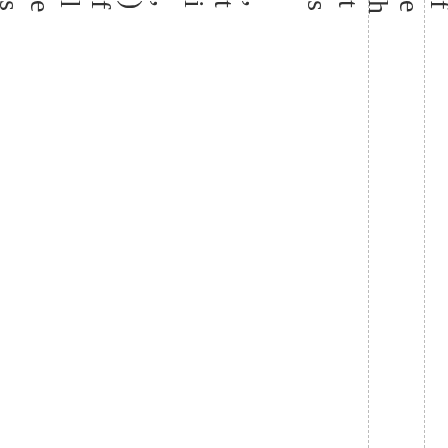e e b y i t s e l f ) , i t ,  s t h e f e e d b a f